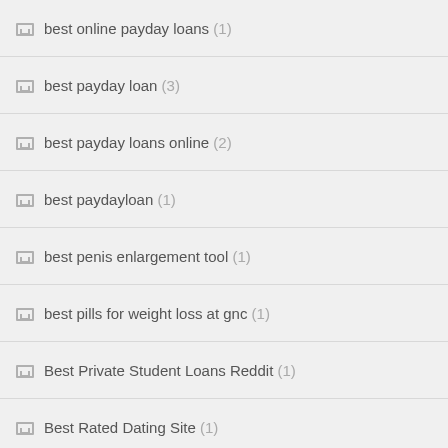best online payday loans (1)
best payday loan (3)
best payday loans online (2)
best paydayloan (1)
best penis enlargement tool (1)
best pills for weight loss at gnc (1)
Best Private Student Loans Reddit (1)
Best Rated Dating Site (1)
best real dating sites (1)
best remedies for hypertension (1)